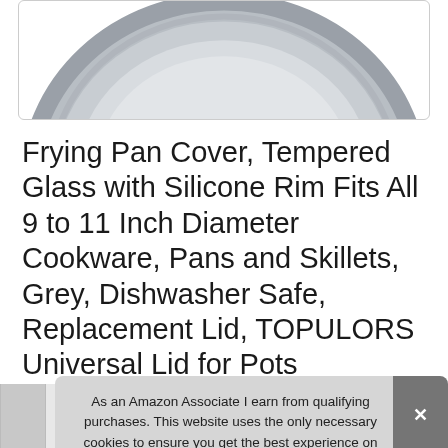[Figure (photo): Top portion of a circular grey frying pan lid with silicone rim, viewed from above, against a white background inside a rounded rectangle border]
Frying Pan Cover, Tempered Glass with Silicone Rim Fits All 9 to 11 Inch Diameter Cookware, Pans and Skillets, Grey, Dishwasher Safe, Replacement Lid, TOPULORS Universal Lid for Pots
As an Amazon Associate I earn from qualifying purchases. This website uses the only necessary cookies to ensure you get the best experience on our website. More information
[Figure (screenshot): Bottom strip showing partial thumbnails of product images]